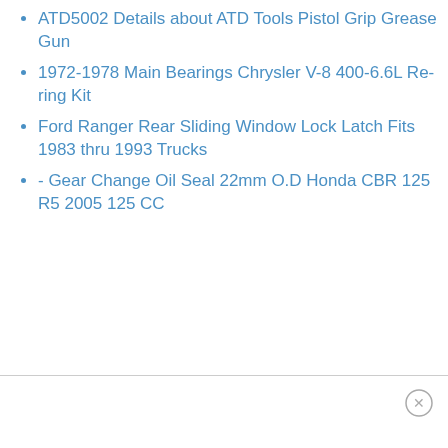ATD5002 Details about ATD Tools Pistol Grip Grease Gun
1972-1978 Main Bearings Chrysler V-8 400-6.6L Re-ring Kit
Ford Ranger Rear Sliding Window Lock Latch Fits 1983 thru 1993 Trucks
- Gear Change Oil Seal 22mm O.D Honda CBR 125 R5 2005 125 CC